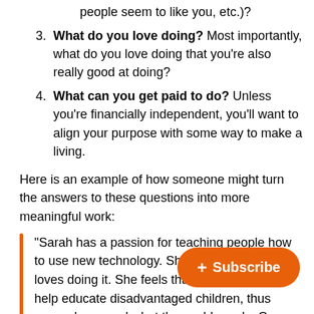people seem to like you, etc.)?
What do you love doing? Most importantly, what do you love doing that you're also really good at doing?
What can you get paid to do? Unless you're financially independent, you'll want to align your purpose with some way to make a living.
Here is an example of how someone might turn the answers to these questions into more meaningful work:
"Sarah has a passion for teaching people how to use new technology. She is great at it and loves doing it. She feels that her calling is to help educate disadvantaged children, thus com… loves and what the world needs. C… world needs educators and you can get paid to be